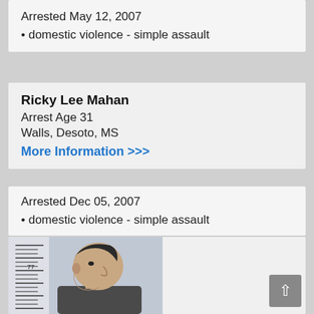Arrested May 12, 2007
domestic violence - simple assault
Ricky Lee Mahan
Arrest Age 31
Walls, Desoto, MS
More Information >>>
Arrested Dec 05, 2007
domestic violence - simple assault
[Figure (photo): Mugshot of Ricky Lee Mahan, side profile view showing a young man with dark hair against a height ruler background]